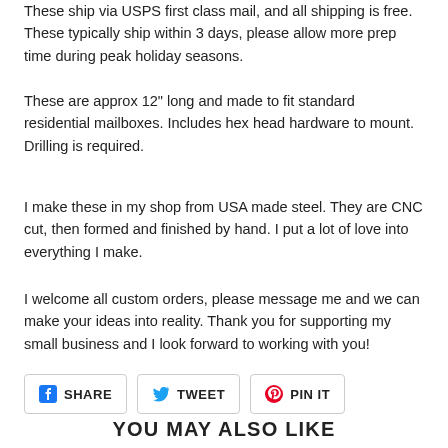These ship via USPS first class mail, and all shipping is free. These typically ship within 3 days, please allow more prep time during peak holiday seasons.
These are approx 12" long and made to fit standard residential mailboxes. Includes hex head hardware to mount. Drilling is required.
I make these in my shop from USA made steel. They are CNC cut, then formed and finished by hand. I put a lot of love into everything I make.
I welcome all custom orders, please message me and we can make your ideas into reality. Thank you for supporting my small business and I look forward to working with you!
[Figure (infographic): Social sharing buttons: Facebook SHARE, Twitter TWEET, Pinterest PIN IT]
YOU MAY ALSO LIKE